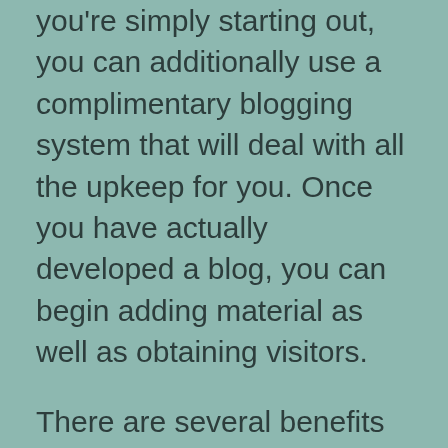you're simply starting out, you can additionally use a complimentary blogging system that will deal with all the upkeep for you. Once you have actually developed a blog, you can begin adding material as well as obtaining visitors.
There are several benefits to blogging. Not just does it enhance web traffic, yet it also aids you create count on with your target audience. By supplying content your target audience finds fascinating, you establish on your own as an expert in your area. Consumers choose to buy from people they know and also trust fund. By creating a blog concerning a specific topic, you